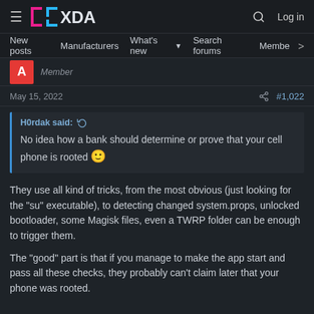XDA Forums - Log in
New posts  Manufacturers  What's new  Search forums  Members
Member
May 15, 2022   #1,022
H0rdak said: No idea how a bank should determine or prove that your cell phone is rooted 🙂
They use all kind of tricks, from the most obvious (just looking for the "su" executable), to detecting changed system.props, unlocked bootloader, some Magisk files, even a TWRP folder can be enough to trigger them.
The "good" part is that if you manage to make the app start and pass all these checks, they probably can't claim later that your phone was rooted.